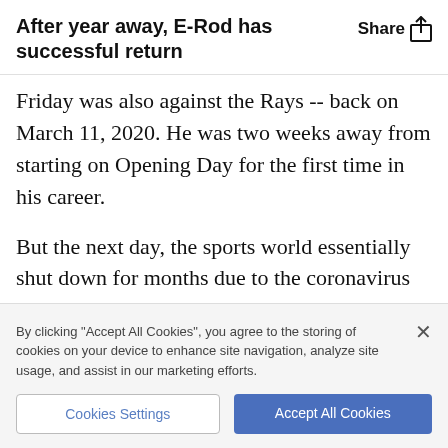After year away, E-Rod has successful return
Friday was also against the Rays -- back on March 11, 2020. He was two weeks away from starting on Opening Day for the first time in his career.
But the next day, the sports world essentially shut down for months due to the coronavirus pandemic.
In June, Rodriguez tested positive for COVID-19,
By clicking "Accept All Cookies", you agree to the storing of cookies on your device to enhance site navigation, analyze site usage, and assist in our marketing efforts.